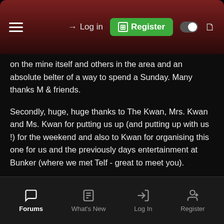Log in | Register
on the mine itself and others in the area and an absolute belter of a way to spend a Sunday. Many thanks M & friends.
Secondly, huge, huge thanks to The Kwan, Mrs. Kwan and Ms. Kwan for putting us up (and putting up with us !) for the weekend and also to Kwan for organising this one for us and the previously days entertainment at Bunker (where we met Telf - great to meet you).
As you all know, hope to do the same for you all in South Wales in the not too distant future.
Thanks over, on with the pictures.
Forums | What's New | Log In | Register